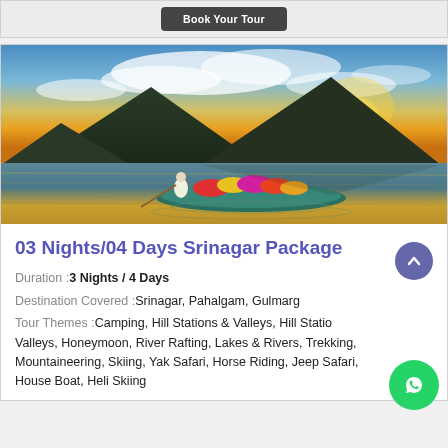[Figure (other): Book Your Tour button in a dark rounded rectangle on a light grey bar at the top of the page]
[Figure (photo): A man in white rowing a wooden boat filled with colorful flowers on a calm lake at sunset, with a dark mountain silhouette and dramatic cloud-filled sky in the background — Kashmir / Srinagar Dal Lake scene]
03 Nights/04 Days Srinagar Package
Duration :3 Nights / 4 Days
Destination Covered : Srinagar, Pahalgam, Gulmarg
Tour Themes : Camping, Hill Stations & Valleys, Hill Stations & Valleys, Honeymoon, River Rafting, Lakes & Rivers, Trekking, Mountaineering, Skiing, Yak Safari, Horse Riding, Jeep Safari, House Boat, Heli Skiing